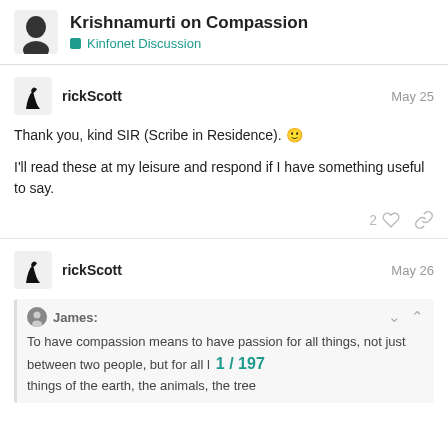Krishnamurti on Compassion — Kinfonet Discussion
rickScott — May 25
Thank you, kind SIR (Scribe in Residence). 🙂

I'll read these at my leisure and respond if I have something useful to say.
rickScott — May 26
James: To have compassion means to have passion for all things, not just between two people, but for all living things of the earth, the animals, the trees